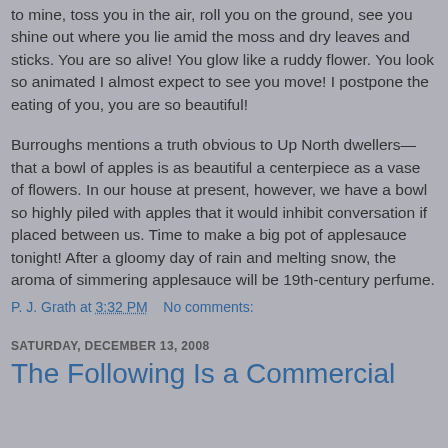to mine, toss you in the air, roll you on the ground, see you shine out where you lie amid the moss and dry leaves and sticks. You are so alive! You glow like a ruddy flower. You look so animated I almost expect to see you move! I postpone the eating of you, you are so beautiful!
Burroughs mentions a truth obvious to Up North dwellers—that a bowl of apples is as beautiful a centerpiece as a vase of flowers. In our house at present, however, we have a bowl so highly piled with apples that it would inhibit conversation if placed between us. Time to make a big pot of applesauce tonight! After a gloomy day of rain and melting snow, the aroma of simmering applesauce will be 19th-century perfume.
P. J. Grath at 3:32 PM    No comments:
SATURDAY, DECEMBER 13, 2008
The Following Is a Commercial